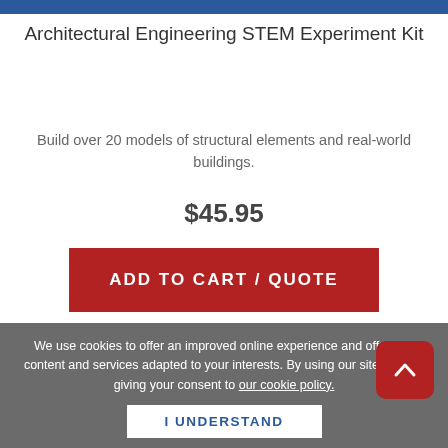Architectural Engineering STEM Experiment Kit
Build over 20 models of structural elements and real-world buildings.
$45.95
ADD TO CART / QUOTE
[Figure (logo): Yellow starburst badge with red text 'NEW']
We use cookies to offer an improved online experience and offer you content and services adapted to your interests. By using our site you are giving your consent to our cookie policy.
I UNDERSTAND